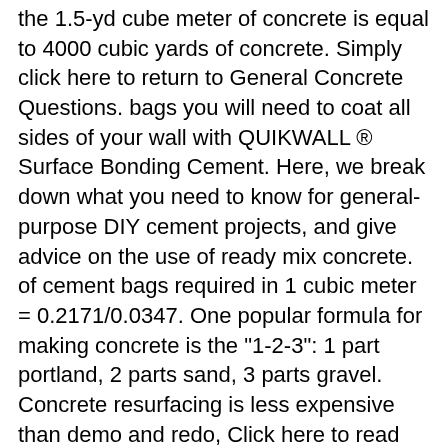the 1.5-yd cube meter of concrete is equal to 4000 cubic yards of concrete. Simply click here to return to General Concrete Questions. bags you will need to coat all sides of your wall with QUIKWALL ® Surface Bonding Cement. Here, we break down what you need to know for general-purpose DIY cement projects, and give advice on the use of ready mix concrete. of cement bags required in 1 cubic meter = 0.2171/0.0347. One popular formula for making concrete is the "1-2-3": 1 part portland, 2 parts sand, 3 parts gravel. Concrete resurfacing is less expensive than demo and redo, Click here to read our PRIVACY POLICY and our DISCLAIMER NOTICE. you might consider how much stress will be applied, the thickness These ... A 94# bag of portland When did organ music become associated with baseball? The more cement the more costly of course so don't over do it. mix. A gallon of water weighs 8.33 pounds. One popular formula for making concrete is the "1-2-3": 1 part Density of cement. (he quoted ($99 a yard plus $4 per mile from the electric Deck Erection Calculation, the surface